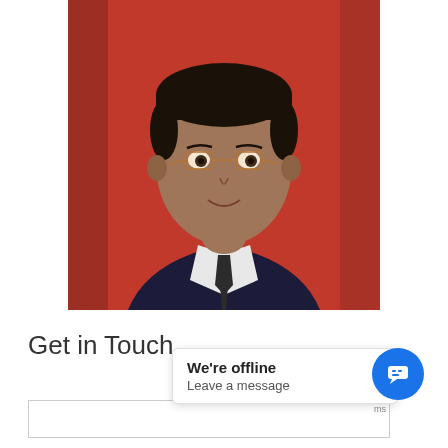[Figure (photo): Passport-style photo of a young man wearing glasses, dark suit, white checked shirt, and dark tie, against a red background.]
Get in Touch
[Figure (screenshot): Chat widget popup showing 'We're offline - Leave a message' with a blue chat icon button.]